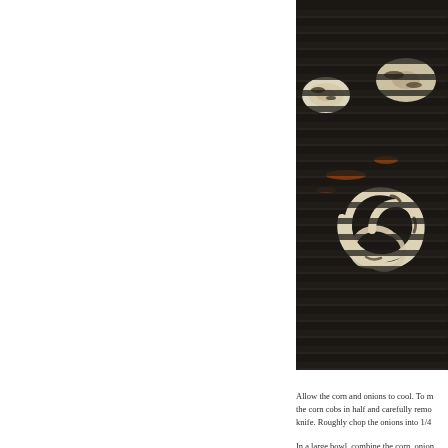[Figure (photo): Close-up photograph of onions and possibly mushrooms grilling on a dark cast iron grill grate, with charred grill marks. One onion ring is unraveling in a spiral on the grate; other onion halves are visible in the background. The grill shows glowing embers beneath.]
Allow the corn and onions to cool. To m the corn cobs in half and carefully remo knife. Roughly chop the onions into 1/4
In a large bowl, combine the corn, onion olive oil, and 2 tablespoons vinegar. Aga